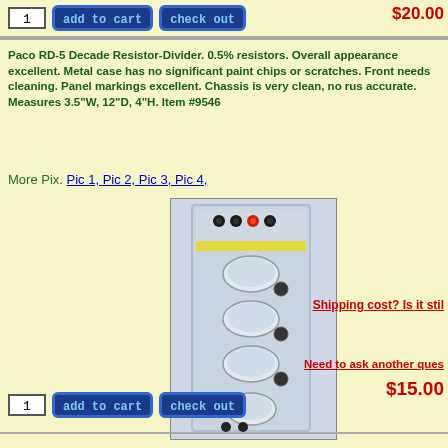$20.00
Paco RD-5 Decade Resistor-Divider. 0.5% resistors. Overall appearance excellent. Metal case has no significant paint chips or scratches. Front needs cleaning. Panel markings excellent. Chassis is very clean, no rust, accurate. Measures 3.5"W, 12"D, 4"H. Item #9546
More Pix. Pic 1, Pic 2, Pic 3, Pic 4,
[Figure (photo): Paco RD-5 Decade Resistor-Divider unit standing vertically, showing front panel with multiple rotary knobs and binding posts]
Shipping cost? Is it stil
Need to ask another ques
$15.00